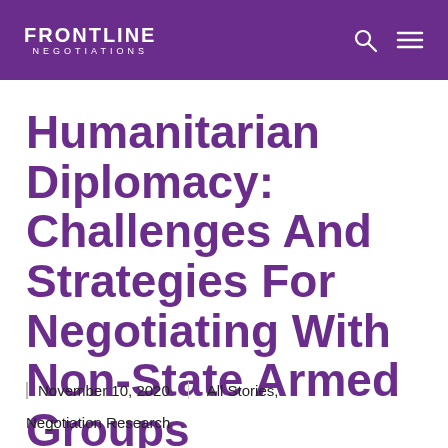FRONTLINE NEGOTIATIONS
Humanitarian Diplomacy: Challenges And Strategies For Negotiating With Non-State Armed Groups
November 10, 2020
All Stories,
Negotiation Research